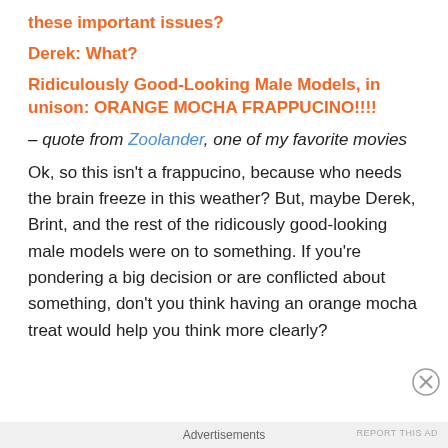these important issues?
Derek: What?
Ridiculously Good-Looking Male Models, in unison: ORANGE MOCHA FRAPPUCINO!!!!
– quote from Zoolander, one of my favorite movies
Ok, so this isn't a frappucino, because who needs the brain freeze in this weather? But, maybe Derek, Brint, and the rest of the ridicously good-looking male models were on to something. If you're pondering a big decision or are conflicted about something, don't you think having an orange mocha treat would help you think more clearly?
Advertisements